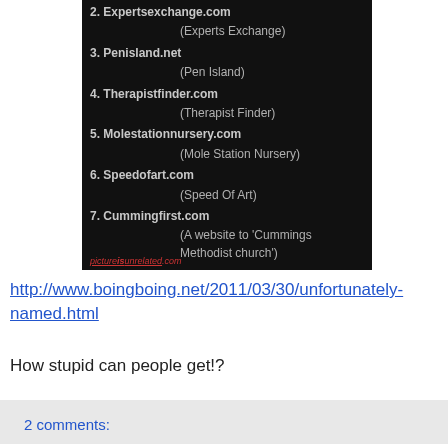[Figure (screenshot): Dark-background screenshot listing unfortunately named websites: 2. Expertsexchange.com (Experts Exchange), 3. Penisland.net (Pen Island), 4. Therapistfinder.com (Therapist Finder), 5. Molestationnursery.com (Mole Station Nursery), 6. Speedofart.com (Speed Of Art), 7. Cummingfirst.com (A website to 'Cummings Methodist church'). Footer: pictureisunrelated.com]
http://www.boingboing.net/2011/03/30/unfortunately-named.html
How stupid can people get!?
2 comments: